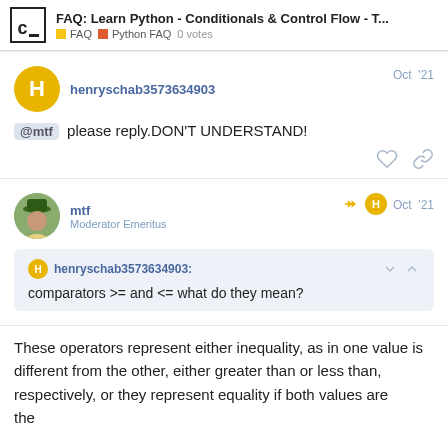FAQ: Learn Python - Conditionals & Control Flow - T... | FAQ | Python FAQ | 0 votes
henryschab3573634903 Oct '21
@mtf please reply.DON'T UNDERSTAND!
mtf Moderator Emeritus Oct '21
henryschab3573634903: comparators >= and <= what do they mean?
These operators represent either inequality, as in one value is different from the other, either greater than or less than, respectively, or they represent equality if both values are the